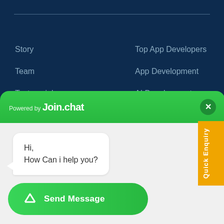Story
Team
Testmonial
Career
Top App Developers
App Development
AI Development
Blockchain Development
[Figure (screenshot): Chat widget powered by Join.chat showing a message bubble saying 'Hi, How Can i help you?' with a green Send Message button and close button]
Quick Enquiry